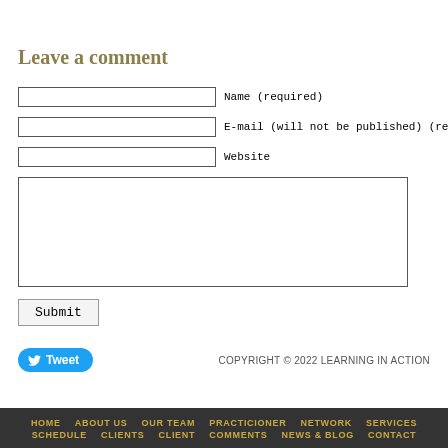Leave a comment
Name (required)
E-mail (will not be published) (required)
Website
Submit
Tweet
COPYRIGHT © 2022 LEARNING IN ACTION
HOME   ABOUT US   OUR TEAM   PRACTICIONER NETWORK   SERVICES   SCHEDULE   CLIENTS   CLIENT COMMENTS   NEWS & BLOG   CONTACT